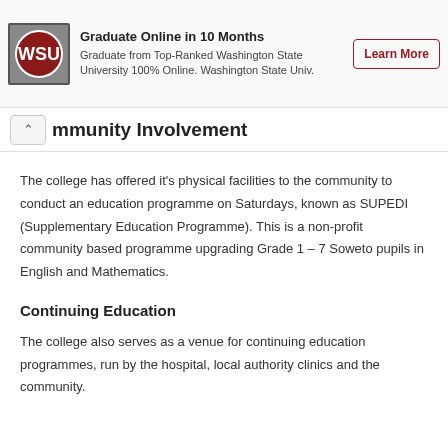[Figure (screenshot): Advertisement banner for Washington State University online graduate program with WSU logo, text, and Learn More button]
Community Involvement
The college has offered it's physical facilities to the community to conduct an education programme on Saturdays, known as SUPEDI (Supplementary Education Programme). This is a non-profit community based programme upgrading Grade 1 – 7 Soweto pupils in English and Mathematics.
Continuing Education
The college also serves as a venue for continuing education programmes, run by the hospital, local authority clinics and the community.